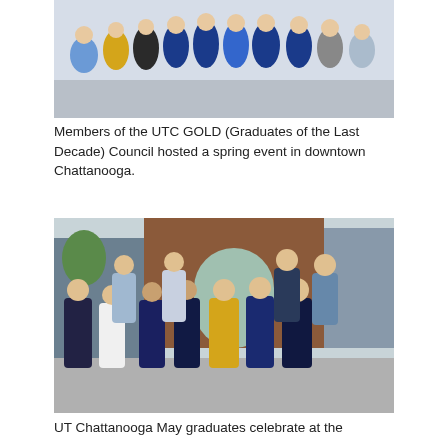[Figure (photo): Group photo of UTC GOLD Council members at a spring event in downtown Chattanooga, people standing together outdoors, some wearing blue and yellow clothing]
Members of the UTC GOLD (Graduates of the Last Decade) Council hosted a spring event in downtown Chattanooga.
[Figure (photo): Group photo of UT Chattanooga May graduates and others celebrating in front of a brick archway on campus, people posing together outdoors]
UT Chattanooga May graduates celebrate at the